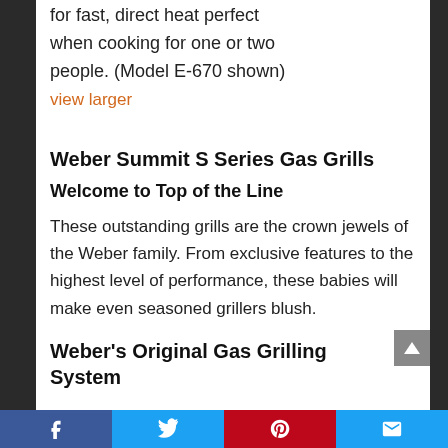for fast, direct heat  perfect when cooking for one or two people. (Model E-670 shown)
view larger
Weber Summit S Series Gas Grills
Welcome to Top of the Line
These outstanding grills are the crown jewels of the Weber family. From exclusive features to the highest level of performance, these babies will make even seasoned grillers blush.
Weber's Original Gas Grilling System